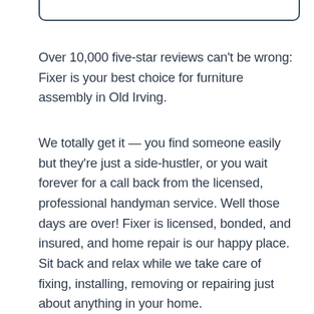Over 10,000 five-star reviews can't be wrong: Fixer is your best choice for furniture assembly in Old Irving.
We totally get it — you find someone easily but they're just a side-hustler, or you wait forever for a call back from the licensed, professional handyman service. Well those days are over! Fixer is licensed, bonded, and insured, and home repair is our happy place. Sit back and relax while we take care of fixing, installing, removing or repairing just about anything in your home.